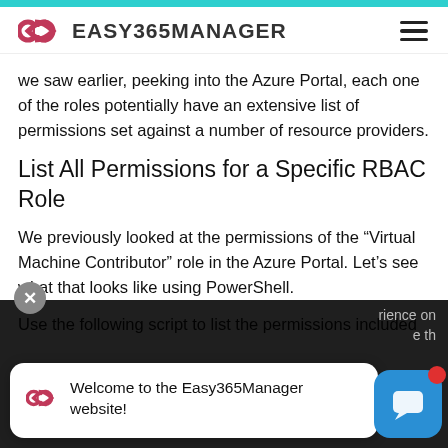EASY365MANAGER
we saw earlier, peeking into the Azure Portal, each one of the roles potentially have an extensive list of permissions set against a number of resource providers.
List All Permissions for a Specific RBAC Role
We previously looked at the permissions of the “Virtual Machine Contributor” role in the Azure Portal. Let’s see what that looks like using PowerShell.
Use the following script to list the permissions included
[Figure (screenshot): Toast popup from Easy365Manager website with logo and welcome message: 'Welcome to the Easy365Manager website!']
Welcome to the Easy365Manager website!